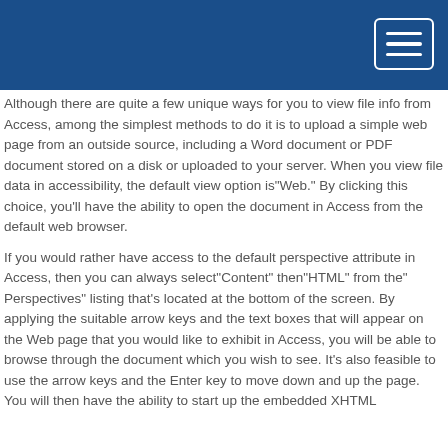Although there are quite a few unique ways for you to view file info from Access, among the simplest methods to do it is to upload a simple web page from an outside source, including a Word document or PDF document stored on a disk or uploaded to your server. When you view file data in accessibility, the default view option is"Web." By clicking this choice, you'll have the ability to open the document in Access from the default web browser.
If you would rather have access to the default perspective attribute in Access, then you can always select"Content" then"HTML" from the" Perspectives" listing that's located at the bottom of the screen. By applying the suitable arrow keys and the text boxes that will appear on the Web page that you would like to exhibit in Access, you will be able to browse through the document which you wish to see. It's also feasible to use the arrow keys and the Enter key to move down and up the page. You will then have the ability to start up the embedded XHTML